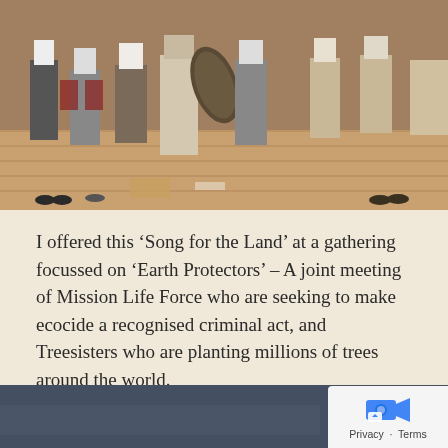[Figure (photo): Group of people standing in a hall or community room with wooden floor, some barefoot; person in foreground holding a guitar case; chairs visible in background.]
I offered this ‘Song for the Land’ at a gathering focussed on ‘Earth Protectors’ – A joint meeting of Mission Life Force who are seeking to make ecocide a recognised criminal act, and Treesisters who are planting millions of trees around the world.
[Figure (photo): Dark bluish-grey background section at the bottom of the page, partially visible image.]